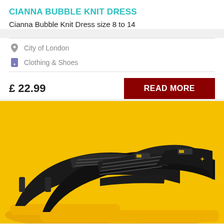CIANNA BUBBLE KNIT DRESS
Cianna Bubble Knit Dress size 8 to 14
City of London
Clothing & Shoes
£ 22.99
READ MORE
[Figure (photo): Black and yellow Air Jordan 12 sneakers photographed on a yellow background, showing two shoes stacked/overlapping with black leather upper and yellow sole.]